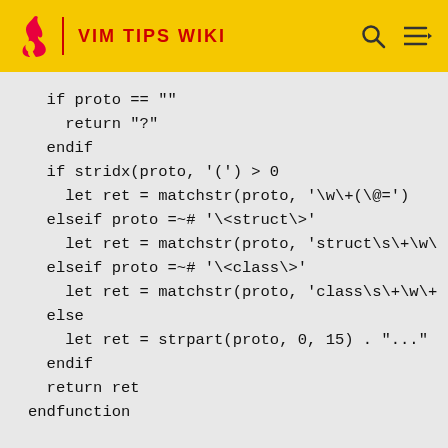VIM TIPS WIKI
if proto == ""
   return "?"
endif
if stridx(proto, '(') > 0
   let ret = matchstr(proto, '\w\+(\@=')
elseif proto =~# '\<struct\>'
   let ret = matchstr(proto, 'struct\s\+\w\
elseif proto =~# '\<class\>'
   let ret = matchstr(proto, 'class\s\+\w\+
else
   let ret = strpart(proto, 0, 15) . "..."
endif
   return ret
endfunction